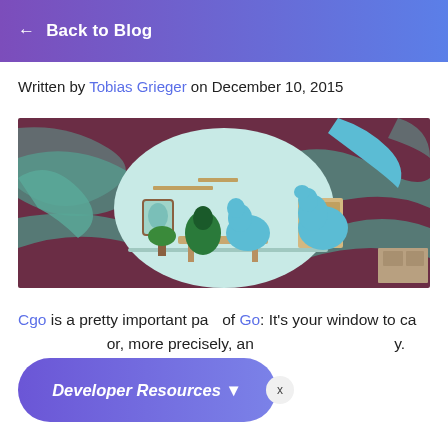← Back to Blog
Written by Tobias Grieger on December 10, 2015
[Figure (illustration): Illustration of two cartoon dinosaur-like creatures sitting at a table in a kitchen, with a surreal background of swirling dark red and teal tentacle-like shapes.]
Cgo is a pretty important part of Go: It's your window to call C code from Go, or, more precisely, any language with a C interface.
Developer Resources ▼ (popup overlay with X close button)